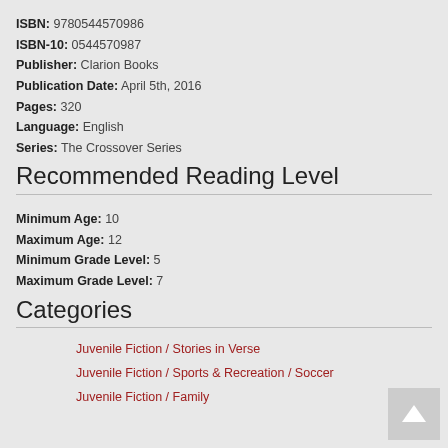ISBN: 9780544570986
ISBN-10: 0544570987
Publisher: Clarion Books
Publication Date: April 5th, 2016
Pages: 320
Language: English
Series: The Crossover Series
Recommended Reading Level
Minimum Age: 10
Maximum Age: 12
Minimum Grade Level: 5
Maximum Grade Level: 7
Categories
Juvenile Fiction / Stories in Verse
Juvenile Fiction / Sports & Recreation / Soccer
Juvenile Fiction / Family